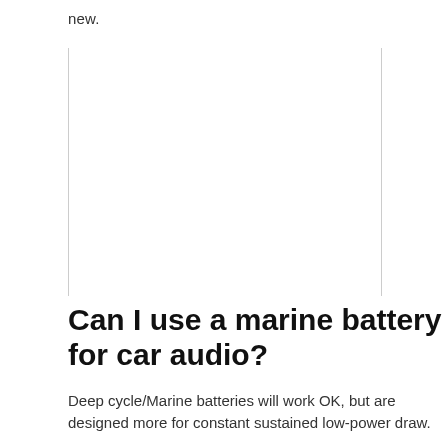new.
[Figure (other): Empty white box with left and right vertical border lines]
Can I use a marine battery for car audio?
Deep cycle/Marine batteries will work OK, but are designed more for constant sustained low-power draw.